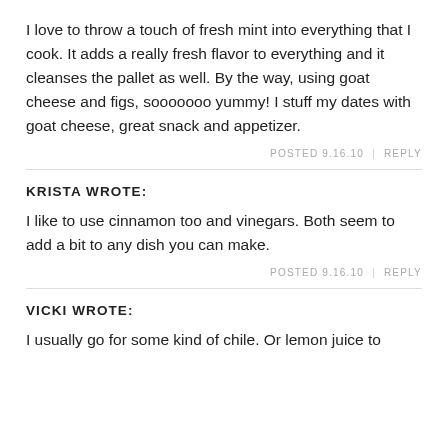I love to throw a touch of fresh mint into everything that I cook. It adds a really fresh flavor to everything and it cleanses the pallet as well. By the way, using goat cheese and figs, sooooooo yummy! I stuff my dates with goat cheese, great snack and appetizer.
POSTED 9.16.10  |  REPLY
KRISTA WROTE:
I like to use cinnamon too and vinegars. Both seem to add a bit to any dish you can make.
POSTED 9.16.10  |  REPLY
VICKI WROTE:
I usually go for some kind of chile. Or lemon juice to